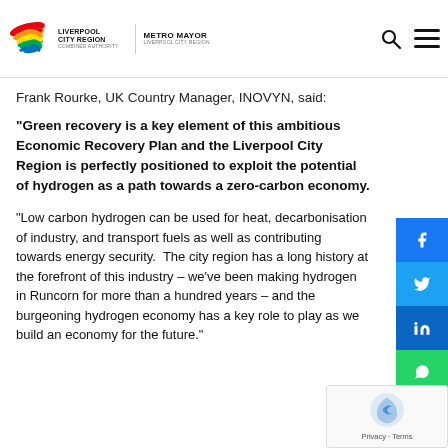Liverpool City Region Combined Authority | Metro Mayor Liverpool City Region
Quality Management Areas (AQMAs), is close to an existing Liverpool City Region hydrogen ... proximity to an emerging cluster of hydrogen fuel companies
Frank Rourke, UK Country Manager, INOVYN, said:
“Green recovery is a key element of this ambitious Economic Recovery Plan and the Liverpool City Region is perfectly positioned to exploit the potential of hydrogen as a path towards a zero-carbon economy.
“Low carbon hydrogen can be used for heat, decarbonisation of industry, and transport fuels as well as contributing towards energy security.  The city region has a long history at the forefront of this industry – we’ve been making hydrogen in Runcorn for more than a hundred years – and the burgeoning hydrogen economy has a key role to play as we build an economy for the future.”